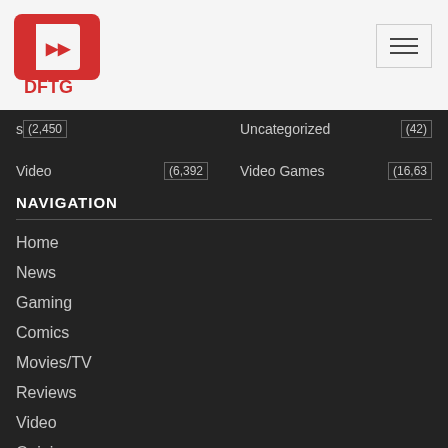[Figure (logo): DFTG logo — red angular bracket shape with double arrow, text DFTG below in red]
[Figure (other): Hamburger menu button — three horizontal lines in a rounded rectangle]
(2,450   Uncategorized   (42)
Video   (6,392   Video Games   (16,63
NAVIGATION
Home
News
Gaming
Comics
Movies/TV
Reviews
Video
Opinion